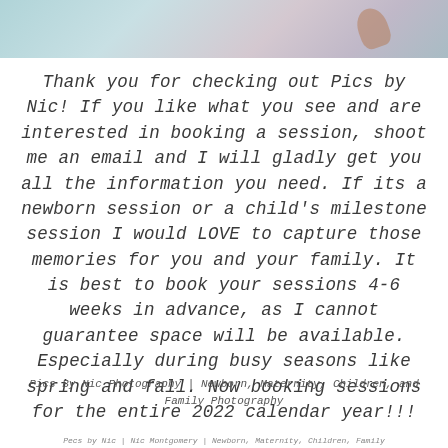[Figure (photo): Partial photo strip at top of page showing a person's hands, likely writing or crafting, with soft blue/purple/teal background tones.]
Thank you for checking out Pics by Nic! If you like what you see and are interested in booking a session, shoot me an email and I will gladly get you all the information you need. If its a newborn session or a child's milestone session I would LOVE to capture those memories for you and your family. It is best to book your sessions 4-6 weeks in advance, as I cannot guarantee space will be available. Especially during busy seasons like spring and fall. Now booking sessions for the entire 2022 calendar year!!!
Pics By Nic Photography | Newborn, Maternity, Children, and Family Photography